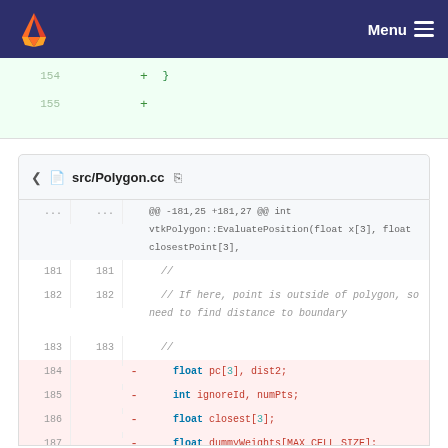[Figure (screenshot): GitLab navigation bar with logo and Menu button]
154  + }  155  +
src/Polygon.cc
@@ -181,25 +181,27 @@ int vtkPolygon::EvaluatePosition(float x[3], float closestPoint[3],
181  181  //
182  182  // If here, point is outside of polygon, so need to find distance to boundary
183  183  //
184       -    float pc[3], dist2;
185       -    int ignoreId, numPts;
186       -    float closest[3];
187       -    float dummyWeights[MAX_CELL_SIZE];
188       -
189       -    numPts = this->Points.GetNumberOfPoints();
190       -    for (minDist2=LARGE_FLOAT, i=0;